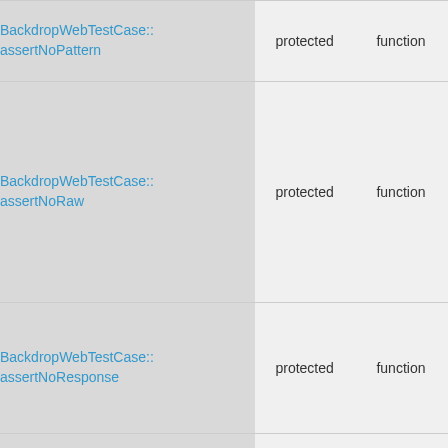| Name | Visibility | Type |
| --- | --- | --- |
| BackdropWebTestCase::assertNoPattern | protected | function |
| BackdropWebTestCase::assertNoRaw | protected | function |
| BackdropWebTestCase::assertNoResponse | protected | function |
|  |  |  |